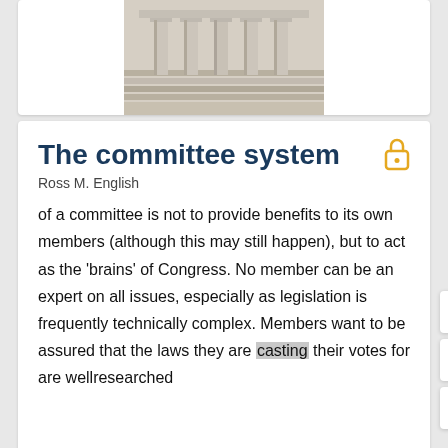[Figure (photo): Partial view of a government building with columns and steps]
The committee system
Ross M. English
of a committee is not to provide benefits to its own members (although this may still happen), but to act as the ‘brains’ of Congress. No member can be an expert on all issues, especially as legislation is frequently technically complex. Members want to be assured that the laws they are casting their votes for are wellresearched